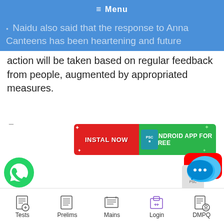≡ Menu
Naidu also said that the response to Anna Canteens has been heartening and future action will be taken based on regular feedback from people, augmented by appropriated measures.
[Figure (infographic): Advertisement banner: INSTAL NOW | PSC logo | ANDROID APP FOR FREE, red and green background]
[Figure (logo): YouTube play button logo (red rounded rectangle with white triangle)]
INTERNATIONAL
[Figure (logo): WhatsApp logo (green circle with white phone handset)]
[Figure (logo): Chat bubble icon with three dots, blue/teal color]
Tests   Prelims   Mains   Login   DMPQ